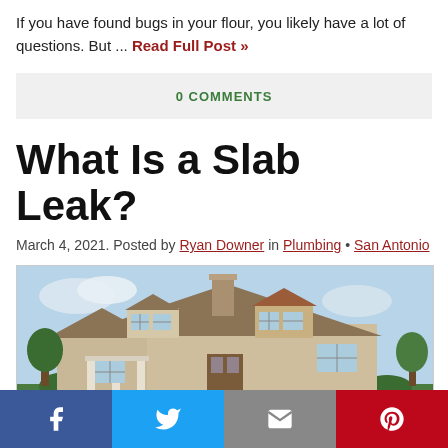If you have found bugs in your flour, you likely have a lot of questions. But ... Read Full Post »
0 COMMENTS
What Is a Slab Leak?
March 4, 2021. Posted by Ryan Downer in Plumbing • San Antonio
[Figure (photo): Exterior view of a two-story house with dormers and a chimney against a blue sky]
[Figure (infographic): Social sharing bar with Facebook, Twitter, Email, and Pinterest buttons]